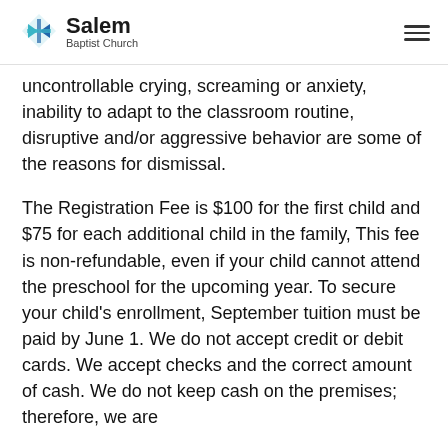Salem Baptist Church
uncontrollable crying, screaming or anxiety, inability to adapt to the classroom routine, disruptive and/or aggressive behavior are some of the reasons for dismissal.
The Registration Fee is $100 for the first child and $75 for each additional child in the family, This fee is non-refundable, even if your child cannot attend the preschool for the upcoming year. To secure your child's enrollment, September tuition must be paid by June 1. We do not accept credit or debit cards. We accept checks and the correct amount of cash. We do not keep cash on the premises; therefore, we are